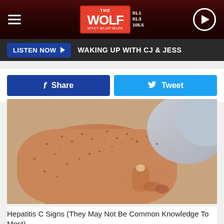[Figure (screenshot): The Wolf radio station website header with logo, hamburger menu, and play button on dark red background]
LISTEN NOW ▶  WAKING UP WITH CJ & JESS
[Figure (screenshot): Facebook Share button (blue) and Twitter Tweet button (light blue)]
[Figure (photo): Close-up photo of an arm with skin showing dark spots/freckles, with a hand pointing to the skin, possibly showing hepatitis C skin signs]
Hepatitis C Signs (They May Not Be Common Knowledge To Most)